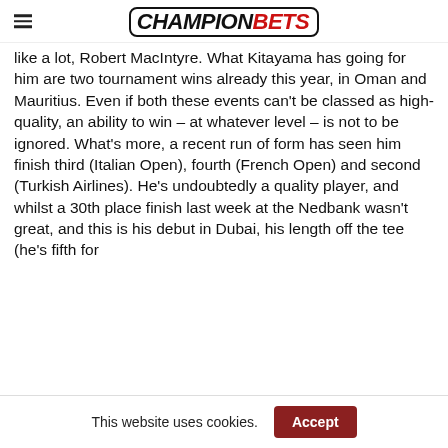CHAMPIONBETS
like a lot, Robert MacIntyre. What Kitayama has going for him are two tournament wins already this year, in Oman and Mauritius. Even if both these events can't be classed as high-quality, an ability to win – at whatever level – is not to be ignored. What's more, a recent run of form has seen him finish third (Italian Open), fourth (French Open) and second (Turkish Airlines). He's undoubtedly a quality player, and whilst a 30th place finish last week at the Nedbank wasn't great, and this is his debut in Dubai, his length off the tee (he's fifth for
This website uses cookies.
Accept